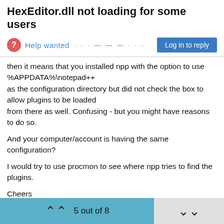HexEditor.dll not loading for some users
Help wanted · · · — — — · · ·
then it means that you installed npp with the option to use %APPDATA%\notepad++ as the configuration directory but did not check the box to allow plugins to be loaded from there as well. Confusing - but you might have reasons to do so.

And your computer/account is having the same configuration?

I would try to use procmon to see where npp tries to find the plugins.

Cheers
Claudia
5 out of 8